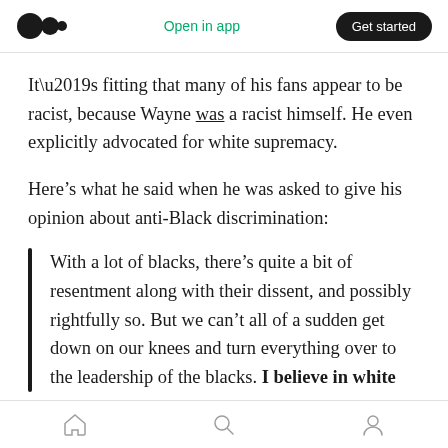Open in app | Get started
It’s fitting that many of his fans appear to be racist, because Wayne was a racist himself. He even explicitly advocated for white supremacy.
Here’s what he said when he was asked to give his opinion about anti-Black discrimination:
With a lot of blacks, there’s quite a bit of resentment along with their dissent, and possibly rightfully so. But we can’t all of a sudden get down on our knees and turn everything over to the leadership of the blacks. I believe in white
Home | Search | Profile